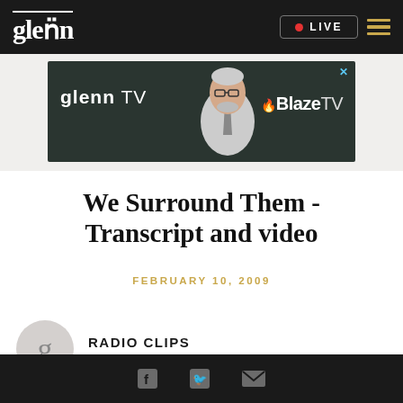glenn | LIVE
[Figure (screenshot): Glenn TV and BlazeTV advertisement banner with a person in a suit and glasses on dark background]
We Surround Them - Transcript and video
FEBRUARY 10, 2009
RADIO CLIPS
THE GLENN BECK PROGRAM
Social media icons: Facebook, Twitter, Email